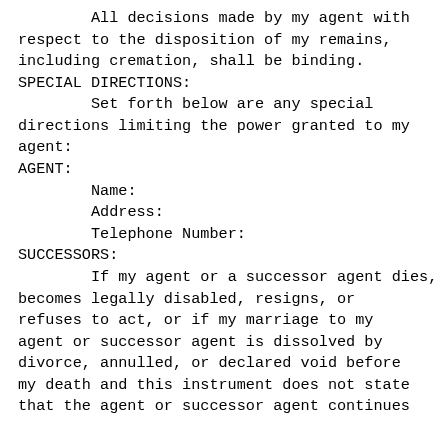All decisions made by my agent with respect to the disposition of my remains, including cremation, shall be binding.
SPECIAL DIRECTIONS:
        Set forth below are any special directions limiting the power granted to my agent:
AGENT:
        Name:
        Address:
        Telephone Number:
SUCCESSORS:
        If my agent or a successor agent dies, becomes legally disabled, resigns, or refuses to act, or if my marriage to my agent or successor agent is dissolved by divorce, annulled, or declared void before my death and this instrument does not state that the agent or successor agent continues